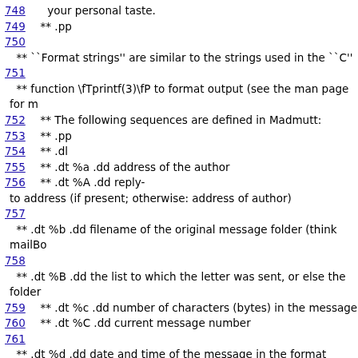748    your personal taste.
749  ** .pp
750
** ``Format strings'' are similar to the strings used in the ``C''
751
** function \fTprintf(3)\fP to format output (see the man page for m
752  ** The following sequences are defined in Madmutt:
753  ** .pp
754  ** .dl
755  ** .dt %a .dd address of the author
756  ** .dt %A .dd reply-
to address (if present; otherwise: address of author)
757
** .dt %b .dd filename of the original message folder (think mailBo
758
** .dt %B .dd the list to which the letter was sent, or else the folder
759  ** .dt %c .dd number of characters (bytes) in the message
760  ** .dt %C .dd current message number
761
** .dt %d .dd date and time of the message in the format specified
762  **      ``date_format'' converted to sender's time zone
763
** .dt %D .dd date and time of the message in the format specified
764  **      ``date_format'' converted to the local time zone
765  ** .dt %e .dd current message number in thread
766  ** .dt %F .dd number of messages in current thread